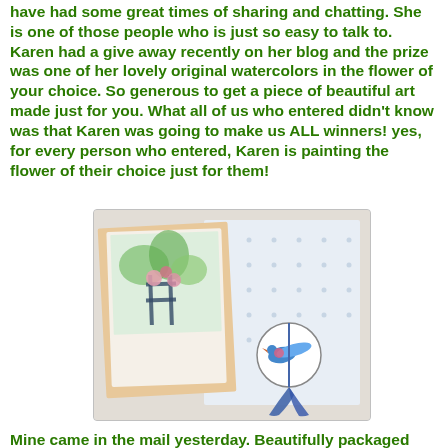have had some great times of sharing and chatting. She is one of those people who is just so easy to talk to. Karen had a give away recently on her blog and the prize was one of her lovely original watercolors in the flower of your choice. So generous to get a piece of beautiful art made just for you. What all of us who entered didn't know was that Karen was going to make us ALL winners! yes, for every person who entered, Karen is painting the flower of their choice just for them!
[Figure (photo): Photo of watercolor artwork and packaging: a colorful garden scene watercolor card, polka-dot paper, and a circular tag with a blue bird illustration tied with a blue ribbon.]
Mine came in the mail yesterday. Beautifully packaged with a handmade tag and a lovely card was, this....my watercolor of one of my favorite cottage flowers, the hollyhock:>)